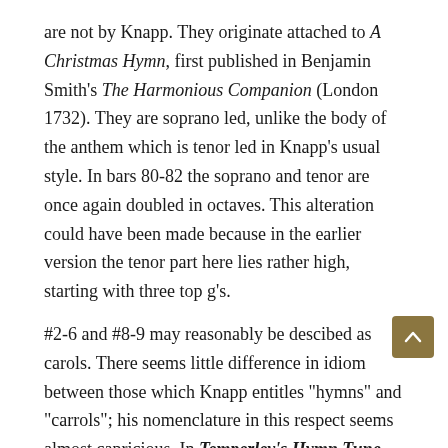are not by Knapp. They originate attached to A Christmas Hymn, first published in Benjamin Smith's The Harmonious Companion (London 1732). They are soprano led, unlike the body of the anthem which is tenor led in Knapp's usual style. In bars 80-82 the soprano and tenor are once again doubled in octaves. This alteration could have been made because in the earlier version the tenor part here lies rather high, starting with three top g's.
#2-6 and #8-9 may reasonably be descibed as carols. There seems little difference in idiom between those which Knapp entitles "hymns" and "carrols"; his nomenclature in this respect seems almost capricious. In Temperley's Hymn Tune Index (Oxford 1998) #4 is given tune# 1681a and ascribed to Knapp. In view of the many variants of this carol which have come down to us